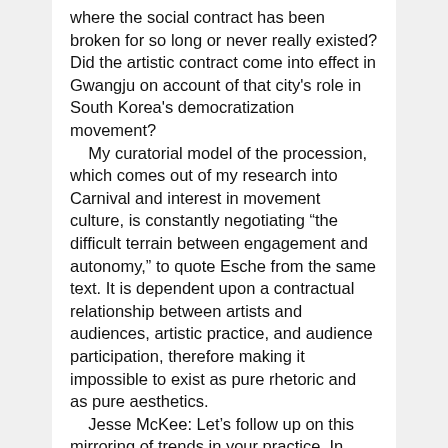where the social contract has been broken for so long or never really existed? Did the artistic contract come into effect in Gwangju on account of that city's role in South Korea's democratization movement?
    My curatorial model of the procession, which comes out of my research into Carnival and interest in movement culture, is constantly negotiating “the difficult terrain between engagement and autonomy,” to quote Esche from the same text. It is dependent upon a contractual relationship between artists and audiences, artistic practice, and audience participation, therefore making it impossible to exist as pure rhetoric and as pure aesthetics.
    Jesse McKee: Let’s follow up on this mirroring of trends in your practice. In some of your own writing and others’ writing, your practice has been